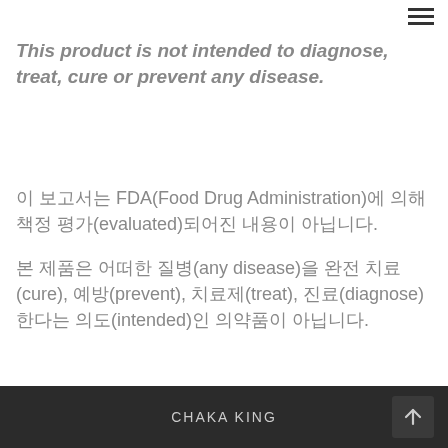≡
This product is not intended to diagnose, treat, cure or prevent any disease.
이 보고서는 FDA(Food Drug Administration)에 의해 책정 평가(evaluated)되어진 내용이 아닙니다.
본 제품은 어떠한 질병(any disease)을 완전 치료(cure), 예방(prevent), 치료제(treat), 진료(diagnose)한다는 의도(intended)인 의약품이 아닙니다.
CHAKA KING